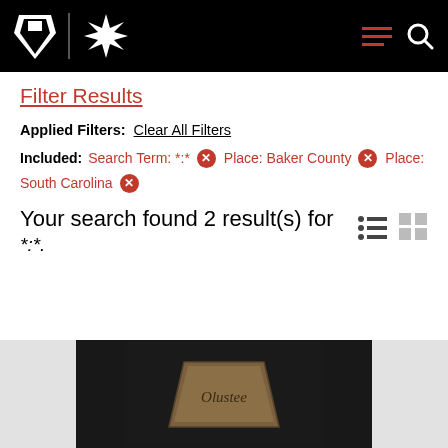Pennsylvania State Archives / navigation header with keystone logo, burst logo, hamburger menu, and search icon
Filter Results
Applied Filters: Clear All Filters
Included: Search Term: *:* × Place: Baker County × Place: South Carolina ×
Your search found 2 result(s) for *:*.
[Figure (photo): Dark background photograph of a metal object (badge or artifact) with the word 'Olustee' engraved on it, truncated at page bottom.]